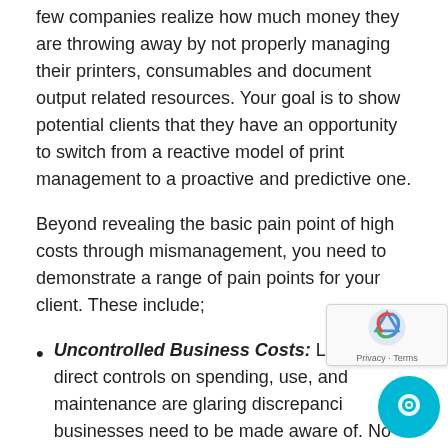few companies realize how much money they are throwing away by not properly managing their printers, consumables and document output related resources. Your goal is to show potential clients that they have an opportunity to switch from a reactive model of print management to a proactive and predictive one.
Beyond revealing the basic pain point of high costs through mismanagement, you need to demonstrate a range of pain points for your client. These include;
Uncontrolled Business Costs: Lapses in direct controls on spending, use, and maintenance are glaring discrepancies businesses need to be made aware of. No one measures personal printing on the job.
Gaps in Security: Poor or nonexistent print management result in lost or destroyed documents. This means sensitive and mission-critical information may be unprotected.